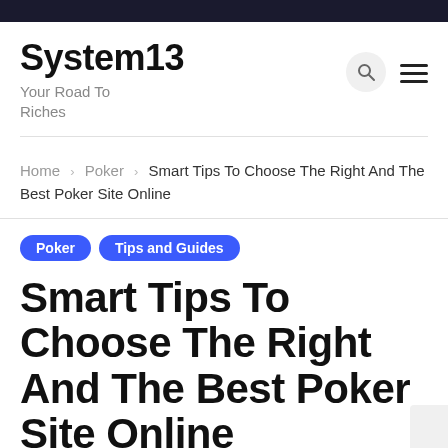System13 — Your Road To Riches
Home > Poker > Smart Tips To Choose The Right And The Best Poker Site Online
Poker
Tips and Guides
Smart Tips To Choose The Right And The Best Poker Site Online